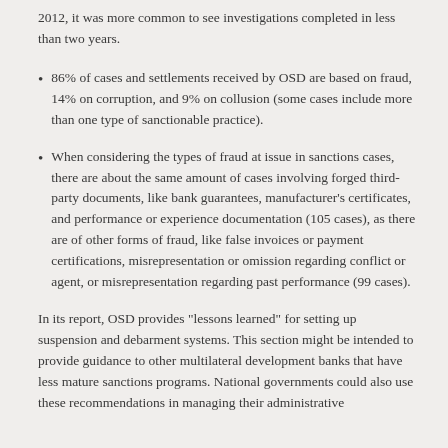2012, it was more common to see investigations completed in less than two years.
86% of cases and settlements received by OSD are based on fraud, 14% on corruption, and 9% on collusion (some cases include more than one type of sanctionable practice).
When considering the types of fraud at issue in sanctions cases, there are about the same amount of cases involving forged third-party documents, like bank guarantees, manufacturer's certificates, and performance or experience documentation (105 cases), as there are of other forms of fraud, like false invoices or payment certifications, misrepresentation or omission regarding conflict or agent, or misrepresentation regarding past performance (99 cases).
In its report, OSD provides "lessons learned" for setting up suspension and debarment systems. This section might be intended to provide guidance to other multilateral development banks that have less mature sanctions programs. National governments could also use these recommendations in managing their administrative